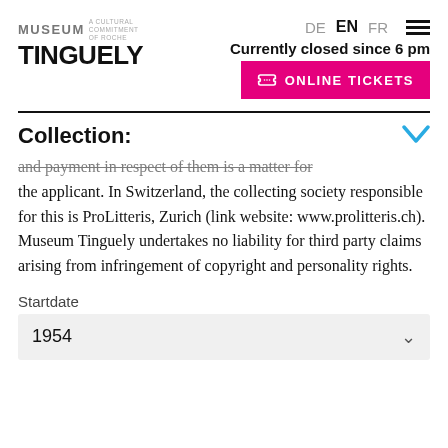MUSEUM TINGUELY
DE EN FR
Currently closed since 6 pm
ONLINE TICKETS
Collection:
and payment in respect of them is a matter for the applicant. In Switzerland, the collecting society responsible for this is ProLitteris, Zurich (link website: www.prolitteris.ch). Museum Tinguely undertakes no liability for third party claims arising from infringement of copyright and personality rights.
Startdate
1954